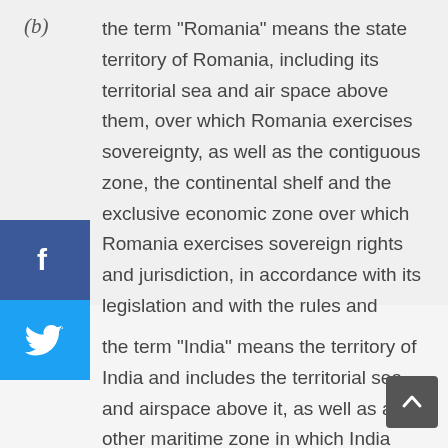(b) the term “Romania” means the state territory of Romania, including its territorial sea and air space above them, over which Romania exercises sovereignty, as well as the contiguous zone, the continental shelf and the exclusive economic zone over which Romania exercises sovereign rights and jurisdiction, in accordance with its legislation and with the rules and principles of international law;
(c) the term “India” means the territory of India and includes the territorial sea and airspace above it, as well as any other maritime zone in which India has sovereign rights, other rights and jurisdiction, according to the Indian law